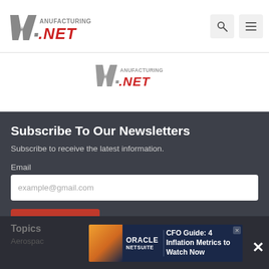Manufacturing.NET logo with search and menu icons
[Figure (logo): Manufacturing.NET logo (second, centered)]
Subscribe To Our Newsletters
Subscribe to receive the latest information.
Email
example@gmail.com
SIGN UP
Topics
Aerospac...
[Figure (infographic): Oracle NetSuite ad banner: CFO Guide: 4 Inflation Metrics to Watch Now]